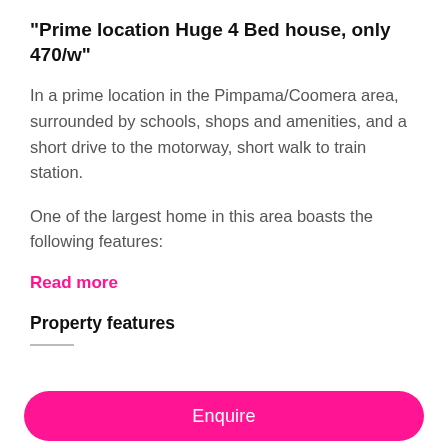“Prime location Huge 4 Bed house, only 470/w”
In a prime location in the Pimpama/Coomera area, surrounded by schools, shops and amenities, and a short drive to the motorway, short walk to train station.
One of the largest home in this area boasts the following features:
Read more
Property features
Enquire